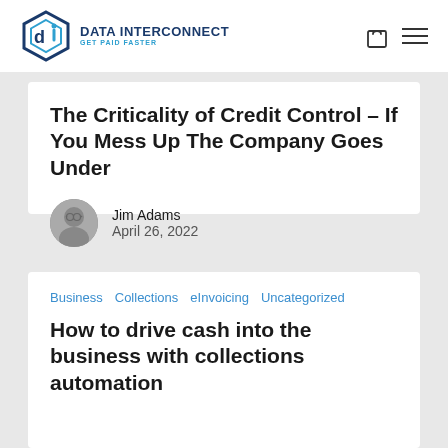[Figure (logo): Data Interconnect logo with hexagon icon and text 'DATA INTERCONNECT GET PAID FASTER']
The Criticality of Credit Control – If You Mess Up The Company Goes Under
Jim Adams
April 26, 2022
Business   Collections   eInvoicing   Uncategorized
How to drive cash into the business with collections automation